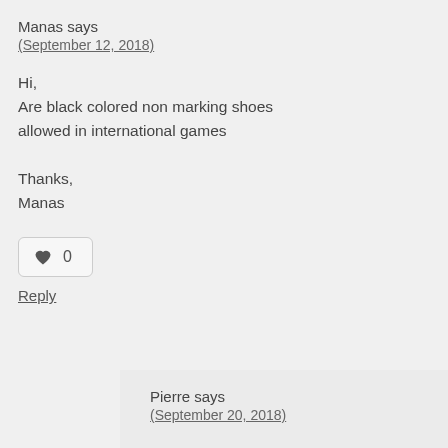Manas says
(September 12, 2018)
Hi,
Are black colored non marking shoes allowed in international games

Thanks,
Manas
[Figure (other): Like button with heart icon showing count 0]
Reply
Pierre says
(September 20, 2018)